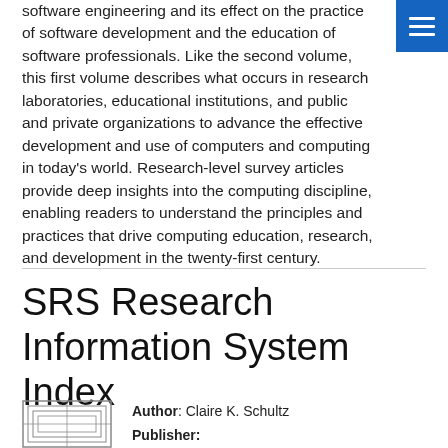software engineering and its effect on the practice of software development and the education of software professionals. Like the second volume, this first volume describes what occurs in research laboratories, educational institutions, and public and private organizations to advance the effective development and use of computers and computing in today's world. Research-level survey articles provide deep insights into the computing discipline, enabling readers to understand the principles and practices that drive computing education, research, and development in the twenty-first century.
SRS Research Information System Index
Author: Claire K. Schultz
Publisher: